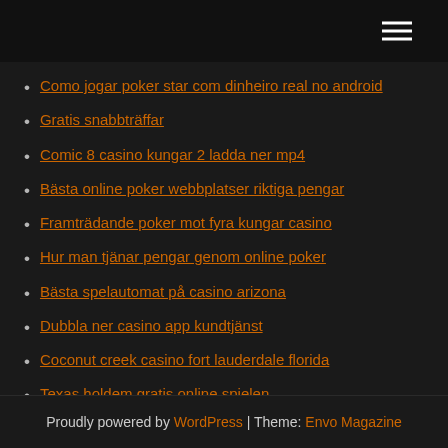Como jogar poker star com dinheiro real no android
Gratis snabbträffar
Comic 8 casino kungar 2 ladda ner mp4
Bästa online poker webbplatser riktiga pengar
Framträdande poker mot fyra kungar casino
Hur man tjänar pengar genom online poker
Bästa spelautomat på casino arizona
Dubbla ner casino app kundtjänst
Coconut creek casino fort lauderdale florida
Texas holdem gratis online spielen
Pokerbordöverdrag för biljardbord
Proudly powered by WordPress | Theme: Envo Magazine